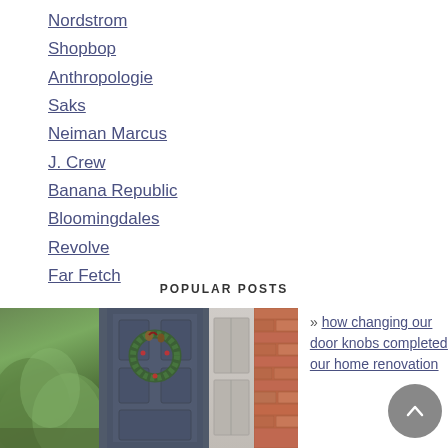Nordstrom
Shopbop
Anthropologie
Saks
Neiman Marcus
J. Crew
Banana Republic
Bloomingdales
Revolve
Far Fetch
POPULAR POSTS
[Figure (photo): Photo strip showing evergreen shrubs, a dark navy door with a Christmas wreath decorated with pinecones and berries, a window with glass panels, and a brick wall]
» how changing our door knobs completed our home renovation